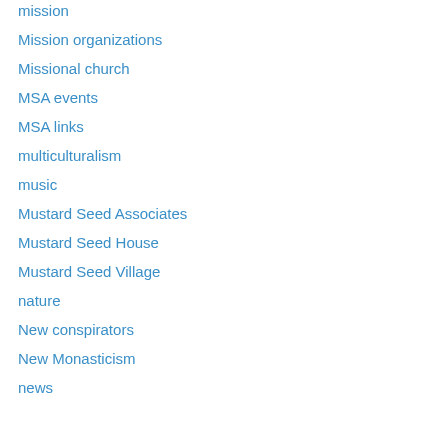mission
Mission organizations
Missional church
MSA events
MSA links
multiculturalism
music
Mustard Seed Associates
Mustard Seed House
Mustard Seed Village
nature
New conspirators
New Monasticism
news
Privacy & Cookies: This site uses cookies. By continuing to use this website, you agree to their use. To find out more, including how to control cookies, see here: Cookie Policy